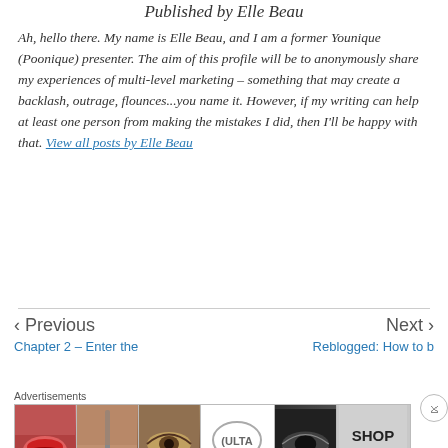Published by Elle Beau
Ah, hello there. My name is Elle Beau, and I am a former Younique (Poonique) presenter. The aim of this profile will be to anonymously share my experiences of multi-level marketing – something that may create a backlash, outrage, flounces...you name it. However, if my writing can help at least one person from making the mistakes I did, then I'll be happy with that. View all posts by Elle Beau
< Previous
Next >
Chapter 2 – Enter the
Reblogged: How to b
Advertisements
[Figure (photo): Advertisement banner showing beauty/makeup images including lips, makeup brush, eye, Ulta Beauty logo, dark eye makeup, and SHOP NOW call to action]